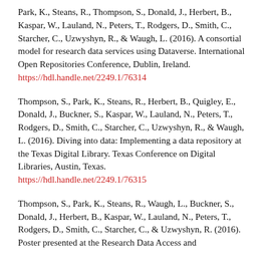Park, K., Steans, R., Thompson, S., Donald, J., Herbert, B., Kaspar, W., Lauland, N., Peters, T., Rodgers, D., Smith, C., Starcher, C., Uzwyshyn, R., & Waugh, L. (2016). A consortial model for research data services using Dataverse. International Open Repositories Conference, Dublin, Ireland. https://hdl.handle.net/2249.1/76314
Thompson, S., Park, K., Steans, R., Herbert, B., Quigley, E., Donald, J., Buckner, S., Kaspar, W., Lauland, N., Peters, T., Rodgers, D., Smith, C., Starcher, C., Uzwyshyn, R., & Waugh, L. (2016). Diving into data: Implementing a data repository at the Texas Digital Library. Texas Conference on Digital Libraries, Austin, Texas. https://hdl.handle.net/2249.1/76315
Thompson, S., Park, K., Steans, R., Waugh, L., Buckner, S., Donald, J., Herbert, B., Kaspar, W., Lauland, N., Peters, T., Rodgers, D., Smith, C., Starcher, C., & Uzwyshyn, R. (2016). Poster presented at the Research Data Access and